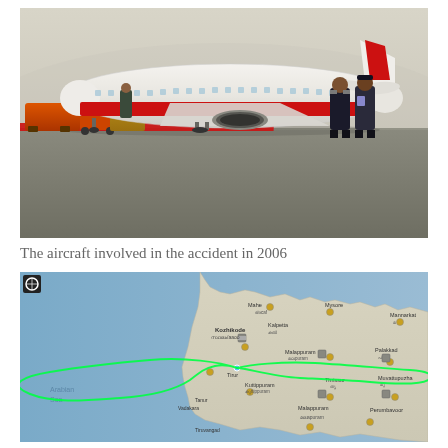[Figure (photo): Photograph of an Air India Express Boeing 737 aircraft on a tarmac, with boarding stairs attached and ground crew/officials standing to the right. Red carpet visible on the ground. The aircraft is white with red stripe and 'Express' visible on the fuselage.]
The aircraft involved in the accident in 2006
[Figure (map): Flight radar map showing the flight path of an aircraft near the Kerala coast of India, with a green looping track over the Arabian Sea and inland toward Kozhikode/Calicut area. Various town names visible including Kozhikode, Malappuram, Thrissur. Map shows a figure-8 or looping flight path in bright green.]